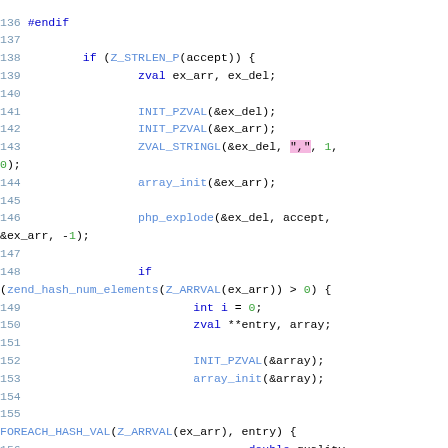[Figure (screenshot): Source code listing in C showing lines 136-156 with syntax highlighting. Line numbers in blue, keywords in dark blue, function/macro names in medium blue, string literals highlighted in pink, numeric literals in green.]